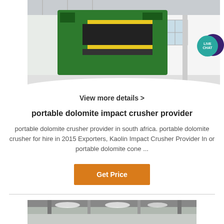[Figure (photo): Industrial green heavy machinery (likely a mobile crusher or conveyor system) photographed inside a large warehouse/factory, with 'LIVE CHAT' bubble overlay in teal]
View more details >
portable dolomite impact crusher provider
portable dolomite crusher provider in south africa. portable dolomite crusher for hire in 2015 Exporters, Kaolin Impact Crusher Provider In or portable dolomite cone ...
Get Price
[Figure (photo): Partial view of industrial machinery inside a large facility with overhead lighting]